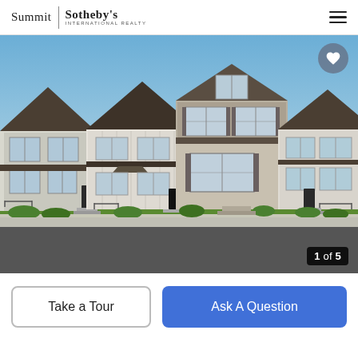Summit | Sotheby's INTERNATIONAL REALTY
[Figure (photo): Rendered exterior photo of a row of modern townhomes with gray/beige facades, dark rooflines, front stoops with railings, and green landscaping. A heart/favorite button is in the upper right. A counter badge reads '1 of 5' in the lower right.]
Take a Tour
Ask A Question